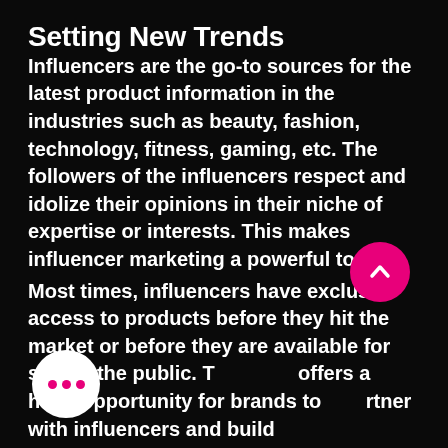Setting New Trends
Influencers are the go-to sources for the latest product information in the industries such as beauty, fashion, technology, fitness, gaming, etc. The followers of the influencers respect and idolize their opinions in their niche of expertise or interests. This makes influencer marketing a powerful tool.
Most times, influencers have exclusive access to products before they hit the market or before they are available for sale to the public. This offers a huge opportunity for brands to partner with influencers and build a campaign around a review by an influencer for a new product and put